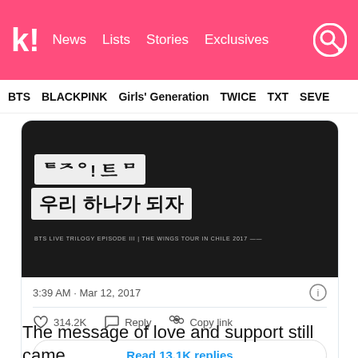k! News Lists Stories Exclusives
BTS   BLACKPINK   Girls' Generation   TWICE   TXT   SEVE
[Figure (photo): Close-up photo of a banner with Korean text reading '우리 하나가 되자' and smaller text 'BTS LIVE TRILOGY EPISODE III | THE WINGS TOUR IN CHILE 2017', shown at a concert.]
3:39 AM · Mar 12, 2017
♡ 314.2K   Reply   Copy link
Read 13.1K replies
The message of love and support still came